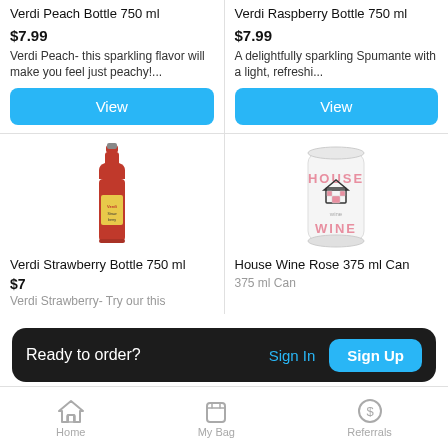Verdi Peach Bottle 750 ml
$7.99
Verdi Peach- this sparkling flavor will make you feel just peachy!...
View
Verdi Raspberry Bottle 750 ml
$7.99
A delightfully sparkling Spumante with a light, refreshi...
View
[Figure (photo): Verdi Strawberry Bottle 750 ml - red sparkling wine bottle]
Verdi Strawberry Bottle 750 ml
[Figure (photo): House Wine Rose 375 ml Can - white aluminum can with house logo and HOUSE WINE text]
House Wine Rose 375 ml Can
$7
Ready to order?
Sign In
Sign Up
Verdi Strawberry- Try our this
375 ml Can
Home   My Bag   Referrals